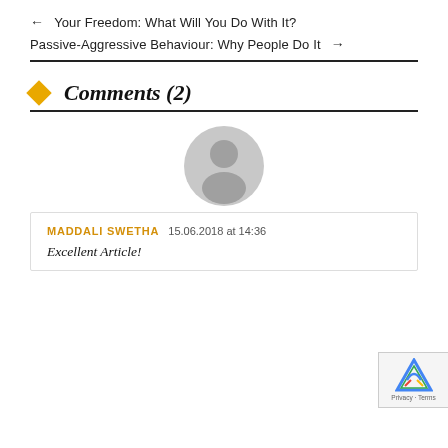← Your Freedom: What Will You Do With It?
Passive-Aggressive Behaviour: Why People Do It →
Comments (2)
[Figure (illustration): Generic user avatar icon — gray circle with person silhouette]
MADDALI SWETHA 15.06.2018 at 14:36
Excellent Article!